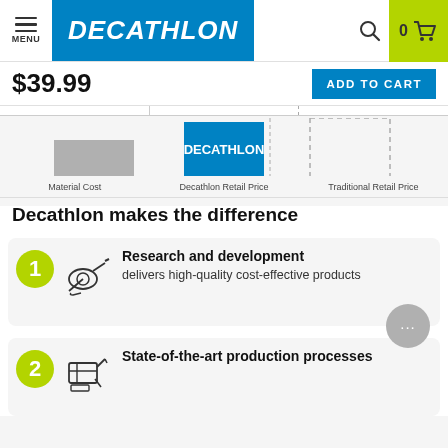[Figure (logo): Decathlon website header with hamburger menu, Decathlon blue logo, search icon, and shopping cart with 0 items on yellow-green background]
$39.99
ADD TO CART
[Figure (bar-chart): Price comparison]
Material Cost   Decathlon Retail Price   Traditional Retail Price
Decathlon makes the difference
Research and development delivers high-quality cost-effective products
State-of-the-art production processes